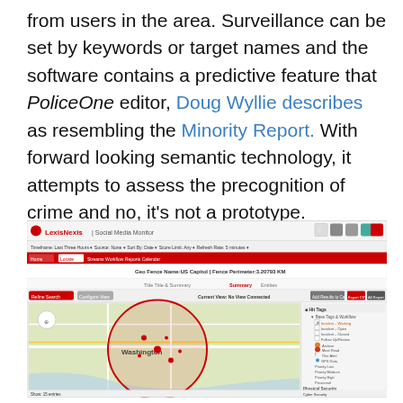from users in the area. Surveillance can be set by keywords or target names and the software contains a predictive feature that PoliceOne editor, Doug Wyllie describes as resembling the Minority Report. With forward looking semantic technology, it attempts to assess the precognition of crime and no, it's not a prototype.
[Figure (screenshot): Screenshot of LexisNexis Social Media Monitor showing a geo-fence around Washington DC on a map interface, with sidebar showing filter options like Incident-Working, Incident-Open, Incident-Closed, Follow Up/Review, Archive, Most Read, One Alert, GPS Data, Priority Low, Priority Medium, Priority High, Personnel, Physical Security, Suspicious Behavior, Cyber Security, Event Security, Emergency Management.]